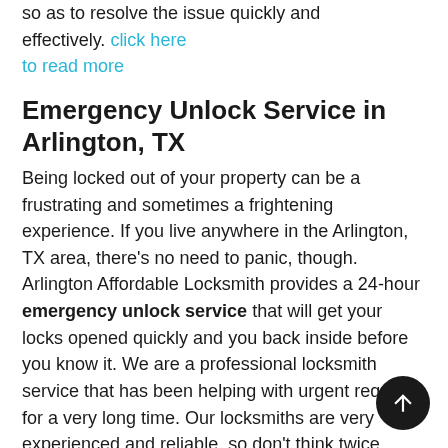so as to resolve the issue quickly and effectively. click here to read more
Emergency Unlock Service in Arlington, TX
Being locked out of your property can be a frustrating and sometimes a frightening experience. If you live anywhere in the Arlington, TX area, there's no need to panic, though. Arlington Affordable Locksmith provides a 24-hour emergency unlock service that will get your locks opened quickly and you back inside before you know it. We are a professional locksmith service that has been helping with urgent requests for a very long time. Our locksmiths are very experienced and reliable, so don't think twice about contacting us. click here to read more
Emergency Locksmith Opening 24 HR in Arlington, TX
Have you been locked out of your property in the middle of the night and can't afford to wait for morning hours to get back inside? Hire our emergency locksmith opening 24